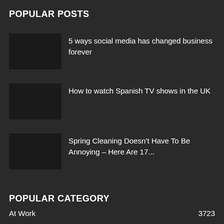POPULAR POSTS
5 ways social media has changed business forever
How to watch Spanish TV shows in the UK
Spring Cleaning Doesn’t Have To Be Annoying – Here Are 17...
POPULAR CATEGORY
At Work	3723